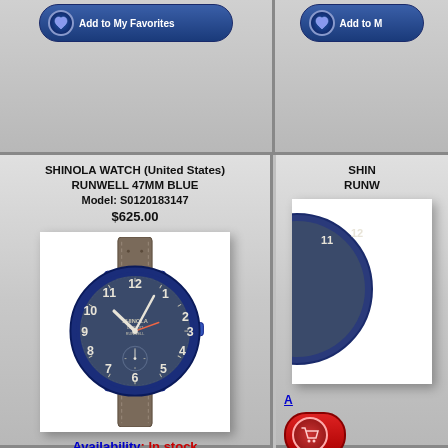[Figure (screenshot): Top partial view of two product panels showing 'Add to My Favorites' buttons with shopping cart icons on a silver/gray gradient background]
SHINOLA WATCH (United States) RUNWELL 47MM BLUE
Model: S0120183147
$625.00
[Figure (photo): Shinola Runwell 47mm Blue watch with dark blue case, slate/charcoal dial with white numerals, sub-dial at 6 o'clock, and gray leather strap]
Availability: In stock
Add to Cart
SHIN... RUNW...
A...